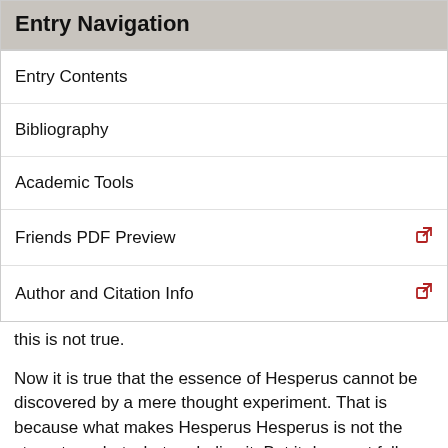Entry Navigation
Entry Contents
Bibliography
Academic Tools
Friends PDF Preview
Author and Citation Info
this is not true.
Now it is true that the essence of Hesperus cannot be discovered by a mere thought experiment. That is because what makes Hesperus Hesperus is not the stereotype, but what underlies it. But it does not follow that no one can ever have access to the essence of a substance, but must always rely for identification on a fallible stereotype. One might think that for the person him or herself, while what makes that person that person underlies what is observable to others, it does not underlie what is